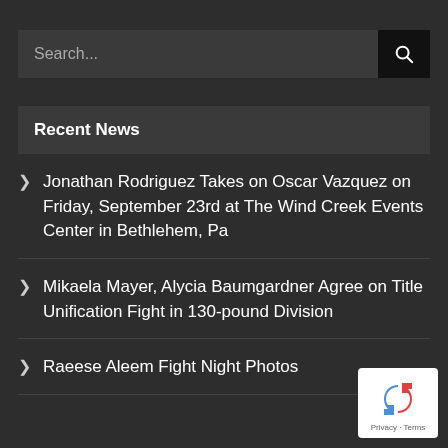Search...
Recent News
Jonathan Rodriguez Takes on Oscar Vazquez on Friday, September 23rd at The Wind Creek Events Center in Bethlehem, Pa
Mikaela Mayer, Alycia Baumgardner Agree on Title Unification Fight in 130-pound Division
Raeese Aleem Fight Night Photos
[Figure (logo): Google reCAPTCHA badge with recycled arrows logo and Privacy - Terms text]